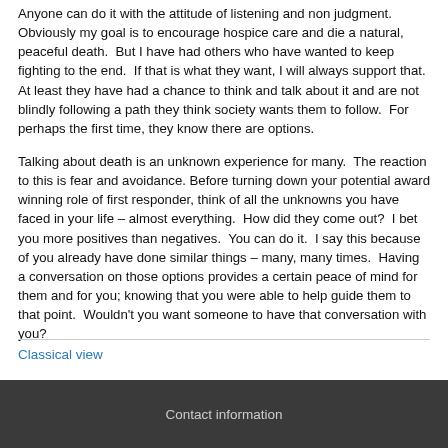Anyone can do it with the attitude of listening and non judgment. Obviously my goal is to encourage hospice care and die a natural, peaceful death.  But I have had others who have wanted to keep fighting to the end.  If that is what they want, I will always support that.  At least they have had a chance to think and talk about it and are not blindly following a path they think society wants them to follow.  For perhaps the first time, they know there are options.
Talking about death is an unknown experience for many.  The reaction to this is fear and avoidance. Before turning down your potential award winning role of first responder, think of all the unknowns you have faced in your life – almost everything.  How did they come out?  I bet you more positives than negatives.  You can do it.  I say this because of you already have done similar things – many, many times.  Having a conversation on those options provides a certain peace of mind for them and for you; knowing that you were able to help guide them to that point.  Wouldn't you want someone to have that conversation with you?
Classical view
Contact information